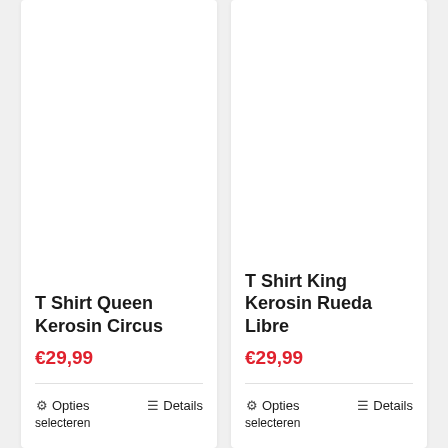T Shirt Queen Kerosin Circus
€29,99
Opties selecteren
Details
T Shirt King Kerosin Rueda Libre
€29,99
Opties selecteren
Details